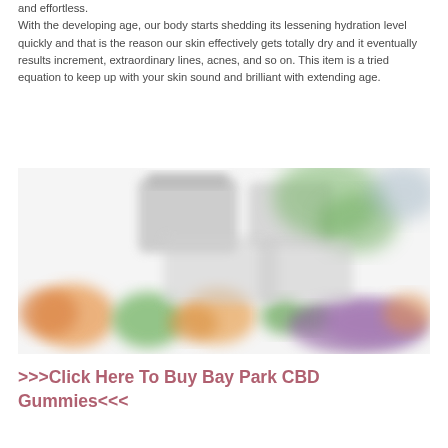and effortless. With the developing age, our body starts shedding its lessening hydration level quickly and that is the reason our skin effectively gets totally dry and it eventually results increment, extraordinary lines, acnes, and so on. This item is a tried equation to keep up with your skin sound and brilliant with extending age.
[Figure (photo): Blurred/out-of-focus image showing colorful gummy candies and what appear to be CBD product containers with green, orange, purple and grey colors]
>>>Click Here To Buy Bay Park CBD Gummies<<<